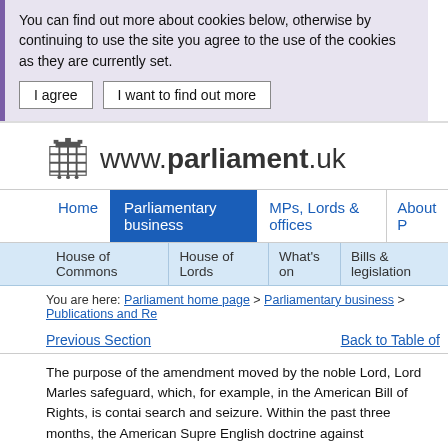You can find out more about cookies below, otherwise by continuing to use the site you agree to the use of the cookies as they are currently set.
I agree | I want to find out more
[Figure (logo): UK Parliament portcullis logo with text www.parliament.uk]
Home | Parliamentary business | MPs, Lords & offices | About P
House of Commons | House of Lords | What's on | Bills & legislation
You are here: Parliament home page > Parliamentary business > Publications and Re
Previous Section    Back to Table of
The purpose of the amendment moved by the noble Lord, Lord Marles... safeguard, which, for example, in the American Bill of Rights, is contai... search and seizure. Within the past three months, the American Supre... English doctrine against unreasonable search and seizure, which, of c... case of Entick v Carrington. The noble Lord, Lord Marlesford, is seekin... Rights Act but the statute itself to contain a general restriction against ... powers.